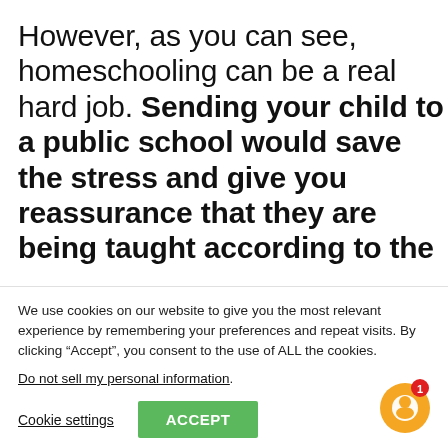However, as you can see, homeschooling can be a real hard job. Sending your child to a public school would save the stress and give you reassurance that they are being taught according to the
We use cookies on our website to give you the most relevant experience by remembering your preferences and repeat visits. By clicking “Accept”, you consent to the use of ALL the cookies.
Do not sell my personal information.
Cookie settings
ACCEPT